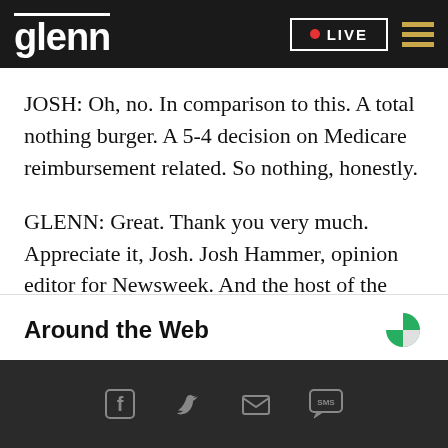glenn LIVE
JOSH: Oh, no. In comparison to this. A total nothing burger. A 5-4 decision on Medicare reimbursement related. So nothing, honestly.
GLENN: Great. Thank you very much. Appreciate it, Josh. Josh Hammer, opinion editor for Newsweek. And the host of the Josh Hammer show.
Around the Web
Social share icons: Facebook, Twitter, Email, SMS